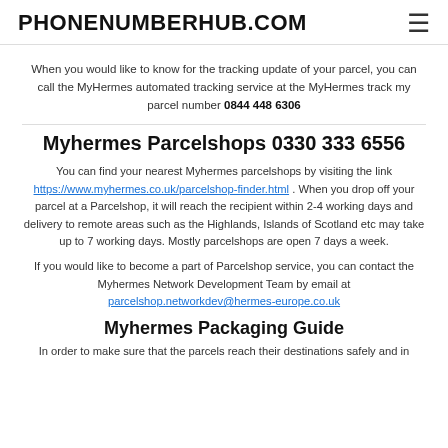PHONENUMBERHUB.COM
When you would like to know for the tracking update of your parcel, you can call the MyHermes automated tracking service at the MyHermes track my parcel number 0844 448 6306
Myhermes Parcelshops 0330 333 6556
You can find your nearest Myhermes parcelshops by visiting the link https://www.myhermes.co.uk/parcelshop-finder.html . When you drop off your parcel at a Parcelshop, it will reach the recipient within 2-4 working days and delivery to remote areas such as the Highlands, Islands of Scotland etc may take up to 7 working days. Mostly parcelshops are open 7 days a week.
If you would like to become a part of Parcelshop service, you can contact the Myhermes Network Development Team by email at parcelshop.networkdev@hermes-europe.co.uk
Myhermes Packaging Guide
In order to make sure that the parcels reach their destinations safely and in